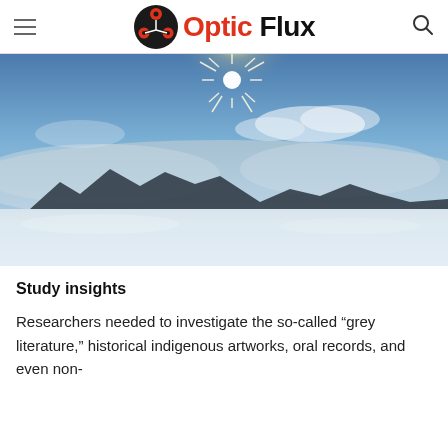Optic Flux
[Figure (photo): Arctic or Antarctic landscape with bright sun shining in a blue sky, snow-covered terrain with ice formations in the middle distance, and a low-hanging band of clouds or mist along the horizon.]
Study insights
Researchers needed to investigate the so-called “grey literature,” historical indigenous artworks, oral records, and even non-